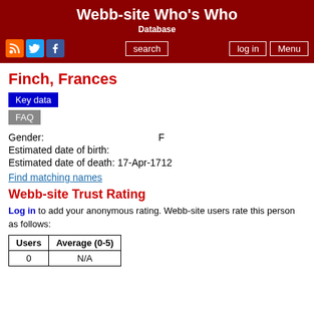Webb-site Who's Who
Database
Finch, Frances
Key data
FAQ
Gender: F
Estimated date of birth:
Estimated date of death: 17-Apr-1712
Find matching names
Webb-site Trust Rating
Log in to add your anonymous rating. Webb-site users rate this person as follows:
| Users | Average (0-5) |
| --- | --- |
| 0 | N/A |